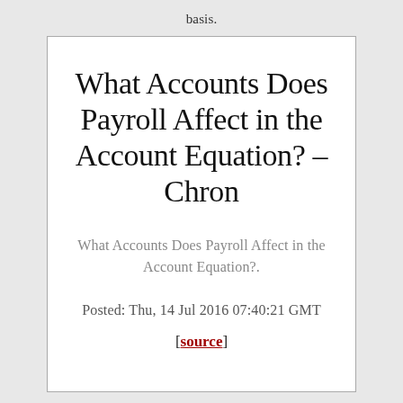basis.
What Accounts Does Payroll Affect in the Account Equation? – Chron
What Accounts Does Payroll Affect in the Account Equation?.
Posted: Thu, 14 Jul 2016 07:40:21 GMT
[source]